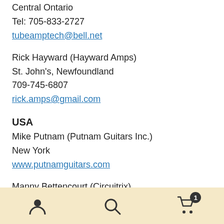Central Ontario
Tel: 705-833-2727
tubeamptech@bell.net
Rick Hayward (Hayward Amps)
St. John's, Newfoundland
709-745-6807
rick.amps@gmail.com
USA
Mike Putnam (Putnam Guitars Inc.)
New York
www.putnamguitars.com
Manny Bettencourt (Circuitrix)